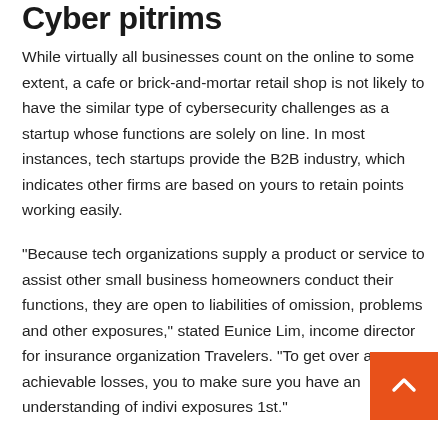Cyber pitrims
While virtually all businesses count on the online to some extent, a cafe or brick-and-mortar retail shop is not likely to have the similar type of cybersecurity challenges as a startup whose functions are solely on line. In most instances, tech startups provide the B2B industry, which indicates other firms are based on yours to retain points working easily.
“Because tech organizations supply a product or service to assist other small business homeowners conduct their functions, they are open to liabilities of omission, problems and other exposures,” stated Eunice Lim, income director for insurance organization Travelers. “To get over any achievable losses, you to make sure you have an understanding of indivi exposures 1st.”